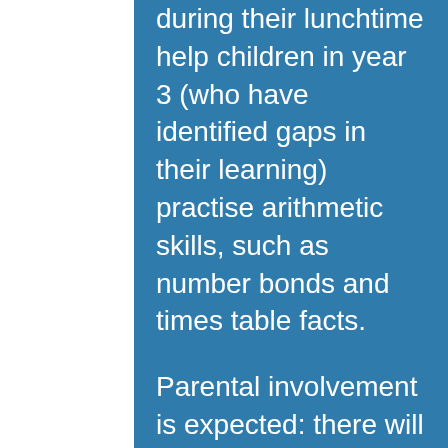during their lunchtime help children in year 3 (who have identified gaps in their learning) practise arithmetic skills, such as number bonds and times table facts.

Parental involvement is expected: there will be open lessons, to which parents are